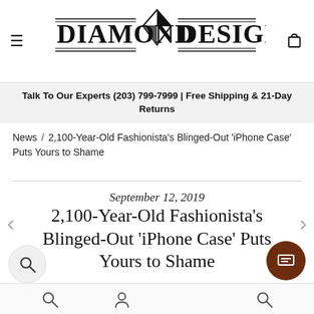DIAMOND DESIGNS
Talk To Our Experts (203) 799-7999 | Free Shipping & 21-Day Returns
News / 2,100-Year-Old Fashionista's Blinged-Out 'iPhone Case' Puts Yours to Shame
September 12, 2019
2,100-Year-Old Fashionista's Blinged-Out 'iPhone Case' Puts Yours to Shame
rchaeologists exploring